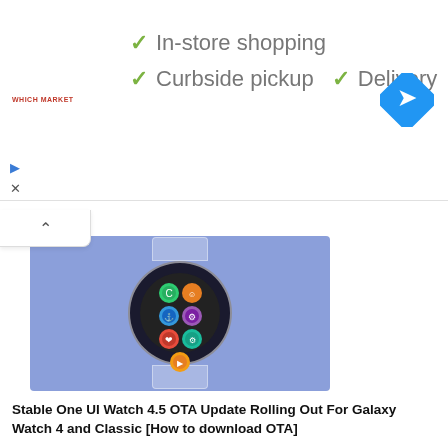[Figure (screenshot): Advertisement banner showing store services: In-store shopping, Curbside pickup, Delivery with green checkmarks and a navigation app icon]
[Figure (photo): Article thumbnail: Samsung Galaxy Watch showing One UI Watch interface with app icons on watch face, purple/blue background]
Stable One UI Watch 4.5 OTA Update Rolling Out For Galaxy Watch 4 and Classic [How to download OTA]
[Figure (photo): Article thumbnail: Mobile game graphic showing cartoon character with green hat in orange/yellow background with white circle]